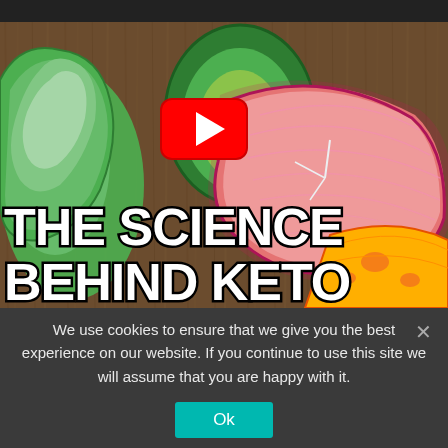[Figure (screenshot): YouTube video thumbnail showing keto food illustration (avocado, salmon, lettuce, cheese) on wood background with YouTube play button overlay and bold white text 'THE SCIENCE BEHIND KETO']
We use cookies to ensure that we give you the best experience on our website. If you continue to use this site we will assume that you are happy with it.